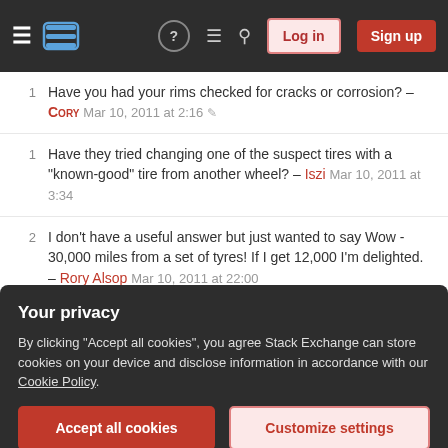Stack Exchange navigation bar with logo, icons, Log in and Sign up buttons
1  Have you had your rims checked for cracks or corrosion? – Cory Mar 10, 2011 at 2:16
1  Have they tried changing one of the suspect tires with a "known-good" tire from another wheel? – Iszi Mar 10, 2011 at 3:34
2  I don't have a useful answer but just wanted to say Wow - 30,000 miles from a set of tyres! If I get 12,000 I'm delighted. – Rory Alsop Mar 10, 2011 at 22:00
Add a comment
Sorted by:
Your privacy
By clicking "Accept all cookies", you agree Stack Exchange can store cookies on your device and disclose information in accordance with our Cookie Policy.
Accept all cookies   Customize settings
winter that she had corrosion paint building up right at the bead. The tire shop diagnosed the tire...